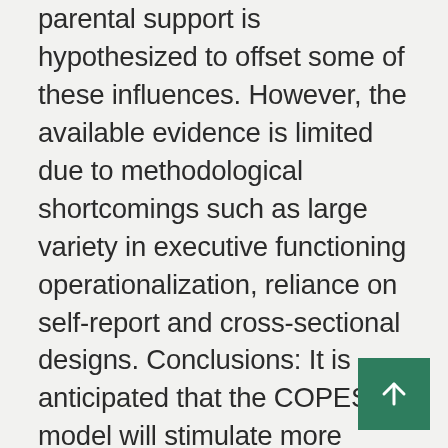parental support is hypothesized to offset some of these influences. However, the available evidence is limited due to methodological shortcomings such as large variety in executive functioning operationalization, reliance on self-report and cross-sectional designs. Conclusions: It is anticipated that the COPES model will stimulate more systematic, theory-driven research to further our understanding of the links between executive functioning, chronic pain, self-management and wellbeing. Such enhanced understanding has the potential to drive forward intervention development and refinement aimed at improving self-management uptake and adherence amongst